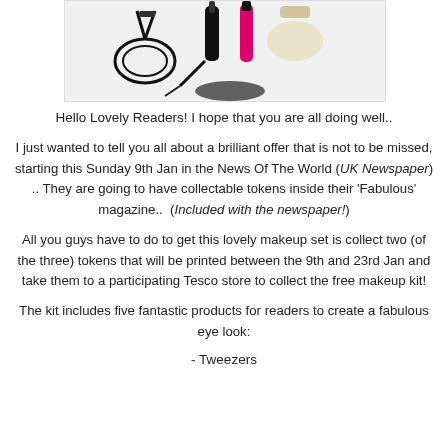[Figure (photo): Beauty/makeup tools image: eyelash curler, mascara wand, and other makeup items on white background]
Hello Lovely Readers! I hope that you are all doing well..
I just wanted to tell you all about a brilliant offer that is not to be missed, starting this Sunday 9th Jan in the News Of The World (UK Newspaper) .. They are going to have collectable tokens inside their 'Fabulous' magazine..  (Included with the newspaper!)
All you guys have to do to get this lovely makeup set is collect two (of the three) tokens that will be printed between the 9th and 23rd Jan and take them to a participating Tesco store to collect the free makeup kit!
The kit includes five fantastic products for readers to create a fabulous eye look:
- Tweezers